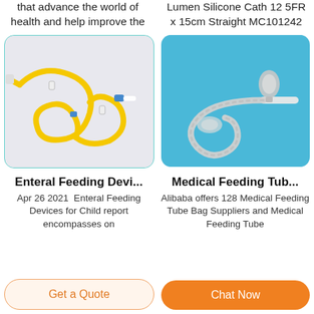that advance the world of health and help improve the
Lumen Silicone Cath 12 5FR x 15cm Straight MC101242
[Figure (photo): Enteral feeding device with yellow tubing coiled on a light background]
[Figure (photo): Medical feeding tube (silicone catheter) on a blue background]
Enteral Feeding Devi...
Medical Feeding Tub...
Apr 26 2021  Enteral Feeding Devices for Child report encompasses on
Alibaba offers 128 Medical Feeding Tube Bag Suppliers and Medical Feeding Tube
Get a Quote
Chat Now